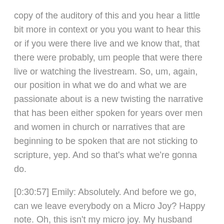copy of the auditory of this and you hear a little bit more in context or you you want to hear this or if you were there live and we know that, that there were probably, um people that were there live or watching the livestream. So, um, again, our position in what we do and what we are passionate about is a new twisting the narrative that has been either spoken for years over men and women in church or narratives that are beginning to be spoken that are not sticking to scripture, yep. And so that's what we're gonna do.
[0:30:57] Emily: Absolutely. And before we go, can we leave everybody on a Micro Joy? Happy note. Oh, this isn't my micro joy. My husband used Micro Joy in a sentence today. Oh, he did,
[0:31:13] Lois: he did. He was like,
[0:31:14] Emily: it's kind of like a micro Joy. And I was